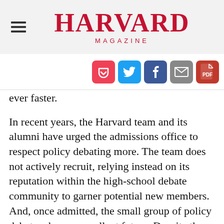HARVARD MAGAZINE
[Figure (infographic): Social sharing icons: Pocket (red), Twitter (blue), Facebook (dark blue), Email (grey), PDF (red)]
ever faster.
In recent years, the Harvard team and its alumni have urged the admissions office to respect policy debating more. The team does not actively recruit, relying instead on its reputation within the high-school debate community to garner potential new members. And, once admitted, the small group of policy debaters has an excellent future. Despite the long hours of travel and research, Harvard's team members say that the knowledge they gain from the experience helps them to excel academically.